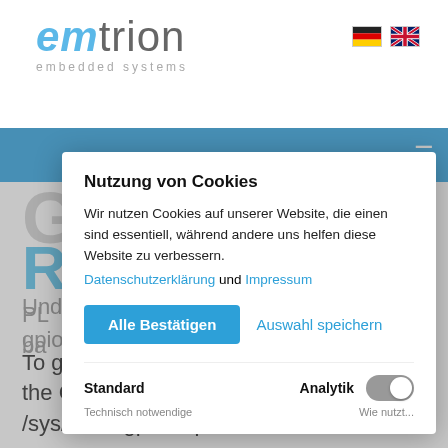[Figure (logo): emtrion embedded systems logo in blue and grey]
[Figure (other): German and UK flag icons for language selection]
Nutzung von Cookies
Wir nutzen Cookies auf unserer Website, die einen sind essentiell, während andere uns helfen diese Website zu verbessern.
Datenschutzerklärung und Impressum
Alle Bestätigen
Auswahl speichern
Standard
Analytik
Technisch notwendige
Wie nutzt...
Under Linux you can use sysfs to access gpios.
To get access to an GPIO pin, first, write the GPIO number to /sys/class/gpio/export